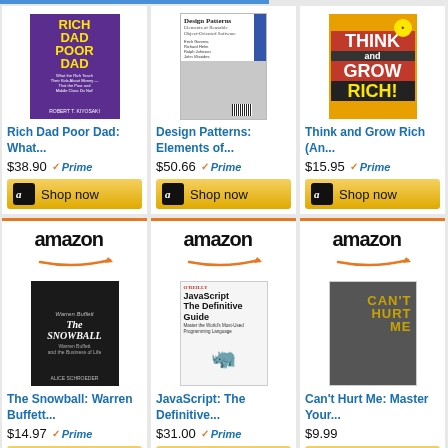[Figure (screenshot): Amazon product grid showing 6 book listings: Rich Dad Poor Dad, Design Patterns, Think and Grow Rich, The Snowball, JavaScript: The Definitive Guide, Can't Hurt Me]
Rich Dad Poor Dad: What...
$38.90 Prime
Shop now
Design Patterns: Elements of...
$50.66 Prime
Shop now
Think and Grow Rich (An...
$15.95 Prime
Shop now
The Snowball: Warren Buffett...
$14.97 Prime
Shop now
JavaScript: The Definitive...
$31.00 Prime
Shop now
Can't Hurt Me: Master Your...
$9.99
Shop now